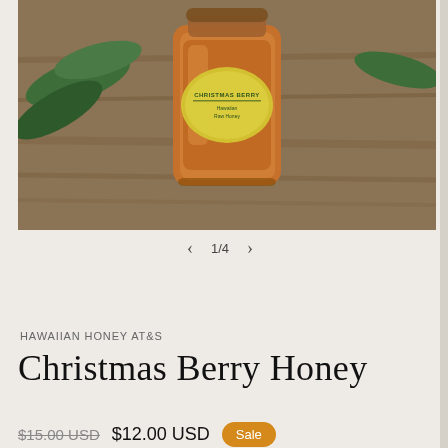[Figure (photo): A glass jar of Christmas Berry Honey with a yellow label, placed on a wooden surface with green leaves in the background.]
1/4
HAWAIIAN HONEY AT&S
Christmas Berry Honey
$15.00 USD  $12.00 USD  Sale